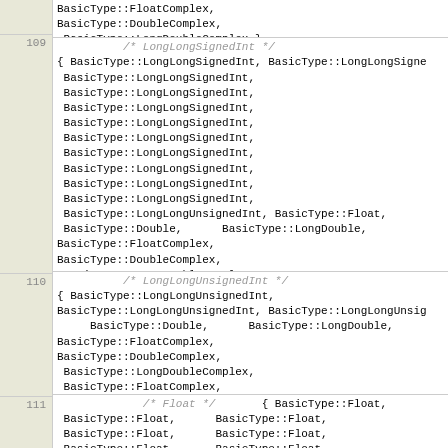BasicType::FloatComplex,
BasicType::DoubleComplex,
BasicType::LongDoubleComplex },
/* LongLongSignedInt */
{ BasicType::LongLongSignedInt, BasicType::LongLongSignedInt,
BasicType::LongLongSignedInt,
BasicType::LongLongSignedInt,
BasicType::LongLongSignedInt,
BasicType::LongLongSignedInt,
BasicType::LongLongSignedInt,
BasicType::LongLongSignedInt,
BasicType::LongLongSignedInt,
BasicType::LongLongSignedInt,
BasicType::LongLongSignedInt,
BasicType::LongLongUnsignedInt, BasicType::Float,
BasicType::Double,       BasicType::LongDouble,
BasicType::FloatComplex,
BasicType::DoubleComplex,
BasicType::LongDoubleComplex,
BasicType::FloatComplex,
BasicType::DoubleComplex,
BasicType::LongDoubleComplex },
/* LongLongUnsignedInt */
{ BasicType::LongLongUnsignedInt,
BasicType::LongLongUnsignedInt, BasicType::LongLongUnsignedInt,
     BasicType::Double,       BasicType::LongDouble,
BasicType::FloatComplex,
BasicType::DoubleComplex,
BasicType::LongDoubleComplex,
BasicType::FloatComplex,
BasicType::DoubleComplex,
BasicType::LongDoubleComplex },
/* Float */       { BasicType::Float,
BasicType::Float,       BasicType::Float,
BasicType::Float,       BasicType::Float,
BasicType::Float,       BasicType::Float,
BasicType::Float,       BasicType::Float,